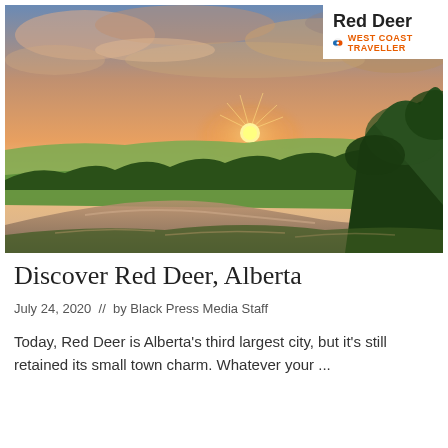[Figure (photo): Landscape photo of a river valley at sunset with green trees, rolling fields, and a glowing orange and pink sky. A river curves through the foreground reflecting the sky.]
Red Deer
WEST COAST TRAVELLER
Discover Red Deer, Alberta
July 24, 2020  //  by Black Press Media Staff
Today, Red Deer is Alberta's third largest city, but it's still retained its small town charm. Whatever your ...